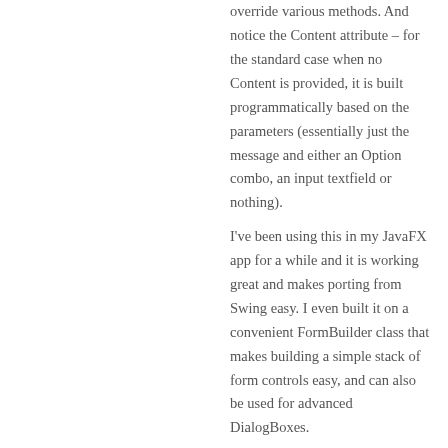override various methods. And notice the Content attribute – for the standard case when no Content is provided, it is built programmatically based on the parameters (essentially just the message and either an Option combo, an input textfield or nothing).
I've been using this in my JavaFX app for a while and it is working great and makes porting from Swing easy. I even built it on a convenient FormBuilder class that makes building a simple stack of form controls easy, and can also be used for advanced DialogBoxes.
Jeff Martin
Reply
Tony Anecito on June 20, 2014 at 2:22 pm